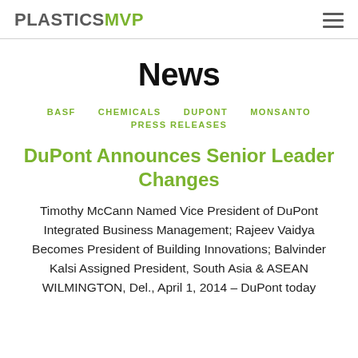PLASTICSMVP
News
BASF   CHEMICALS   DUPONT   MONSANTO   PRESS RELEASES
DuPont Announces Senior Leader Changes
Timothy McCann Named Vice President of DuPont Integrated Business Management; Rajeev Vaidya Becomes President of Building Innovations; Balvinder Kalsi Assigned President, South Asia & ASEAN WILMINGTON, Del., April 1, 2014 – DuPont today